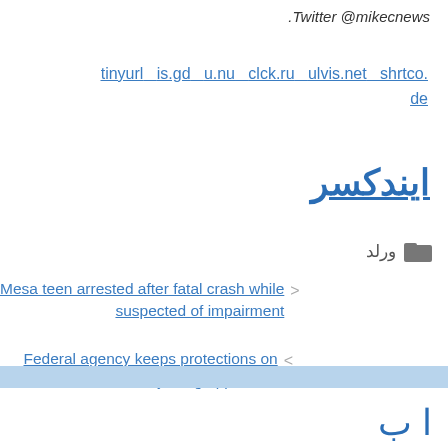.Twitter @mikecnews
tinyurl  is.gd  u.nu  clck.ru  ulvis.net  shrtco.de
ایندکسر
ورلد
Mesa teen arrested after fatal crash while suspected of impairment
Federal agency keeps protections on Arizona's 'rain crow,' rejecting opposition